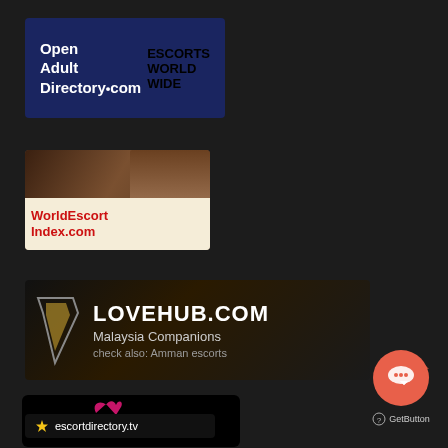[Figure (logo): OpenAdultDirectory.com logo — blue background, white bold text 'Open Adult Directory.com', red italic text 'ESCORTS WORLD WIDE']
[Figure (logo): WorldEscortIndex.com banner — photo of woman in black dress, cream lower section with red bold text 'WorldEscortIndex.com']
[Figure (logo): LOVEHUB.COM banner — dark/gold background with arrow logo, white text 'LOVEHUB.COM', grey text 'Malaysia Companions', small text 'check also: Amman escorts']
[Figure (logo): Devozki banner — black background with pink stylized text 'Devozki' and decorative swirl above]
[Figure (logo): GetButton chat widget — coral/red circular button with chat bubble icon, label 'GetButton' below]
[Figure (logo): escortdirectory.tv logo — dark background with star/pin icon and white text 'escortdirectory.tv']